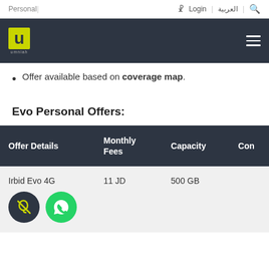Personal | Login | العربية | 🔍
[Figure (logo): Umniah logo - yellow U on dark background with hamburger menu on right]
Offer available based on coverage map.
Evo Personal Offers:
| Offer Details | Monthly Fees | Capacity | Con... |
| --- | --- | --- | --- |
| Irbid Evo 4G | 11 JD | 500 GB |  |